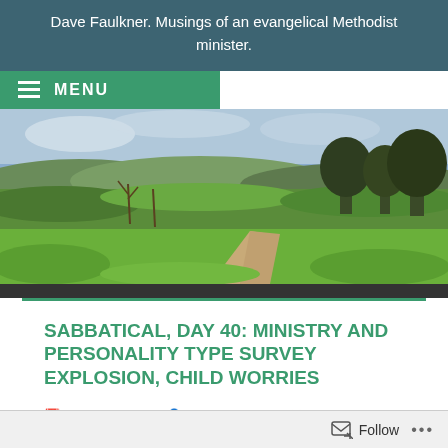Dave Faulkner. Musings of an evangelical Methodist minister.
MENU
[Figure (photo): Landscape photograph showing rolling green fields, trees, a dirt path, and a partly cloudy sky.]
SABBATICAL, DAY 40: MINISTRY AND PERSONALITY TYPE SURVEY EXPLOSION, CHILD WORRIES
March 12, 2009   Dave Faulkner   Children, Culture, Current Affairs, ministry, Religion, Television